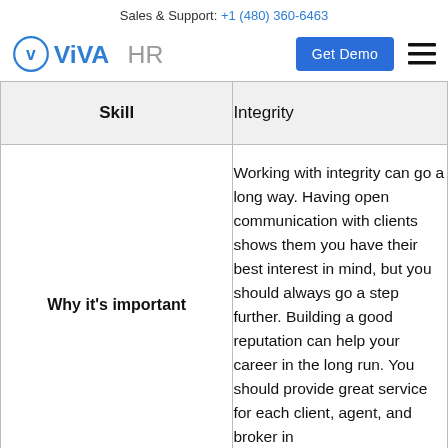Sales & Support: +1 (480) 360-6463
[Figure (logo): ViVA HR logo with circular V icon and 'Get Demo' blue button and hamburger menu]
| Skill | Integrity |
| --- | --- |
| Why it's important | Working with integrity can go a long way. Having open communication with clients shows them you have their best interest in mind, but you should always go a step further. Building a good reputation can help your career in the long run. You should provide great service for each client, agent, and broker in |